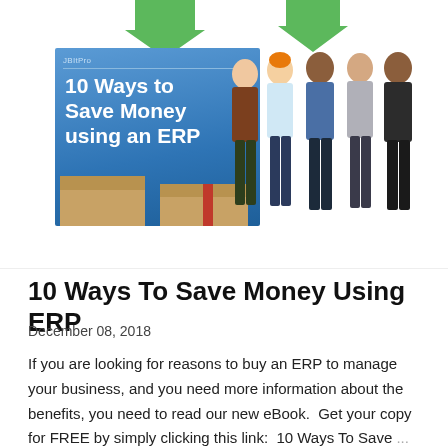[Figure (illustration): Composite illustration showing two green downward arrows at top, a blue book cover titled '10 Ways to Save Money using an ERP' with cardboard boxes below it, and five cartoon male figures standing to the right.]
10 Ways To Save Money Using ERP
December 08, 2018
If you are looking for reasons to buy an ERP to manage your business, and you need more information about the benefits, you need to read our new eBook.  Get your copy for FREE by simply clicking this link:  10 Ways To Save ...